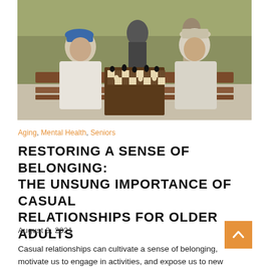[Figure (photo): Two elderly men playing chess at an outdoor wooden table, with other people visible in the background. One man wears a blue cap, the other a light hat.]
Aging, Mental Health, Seniors
RESTORING A SENSE OF BELONGING: THE UNSUNG IMPORTANCE OF CASUAL RELATIONSHIPS FOR OLDER ADULTS
August 3, 2021
Casual relationships can cultivate a sense of belonging, motivate us to engage in activities, and expose us to new